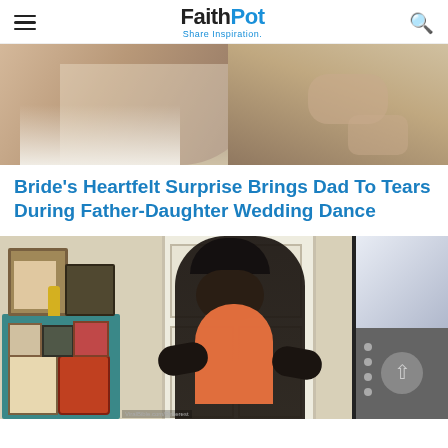FaithPot — Share Inspiration
[Figure (photo): Top portion of a photo showing a bride and another person dancing or embracing at a wedding, cropped]
Bride's Heartfelt Surprise Brings Dad To Tears During Father-Daughter Wedding Dance
[Figure (photo): A bearded man wearing a black cap and shirt holds a young child in a bright orange/coral shirt, standing in front of a white paneled door. To the left is a teal/turquoise small shelf unit with framed photos and artwork on top. To the right is a dark-framed TV or monitor showing a bright screen, with a gray navigation panel below it.]